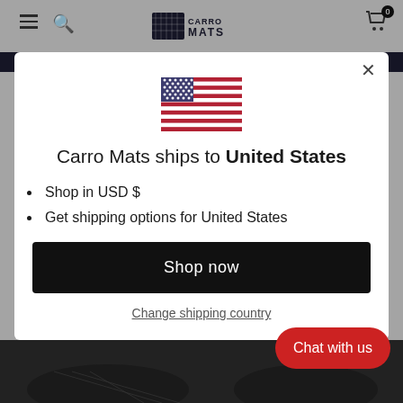Carro Mats — navigation header with hamburger menu, search, logo, and cart
[Figure (screenshot): US flag emoji / icon centered in modal]
Carro Mats ships to United States
Shop in USD $
Get shipping options for United States
Shop now
Change shipping country
[Figure (photo): Dark car floor mats at bottom of page]
Chat with us